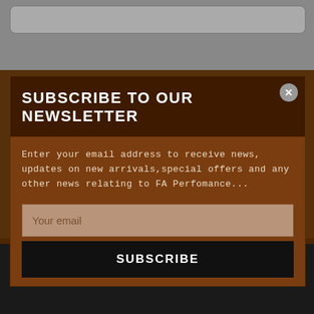SUBSCRIBE TO OUR NEWSLETTER
Enter your email address to receive news, updates on new arrivals,special offers and any other news relating to FA Perfomance...
Your email
SUBSCRIBE
[Figure (screenshot): Performance automotive brand footer with large silver PERFORMANCE text and red scroll-to-top button]